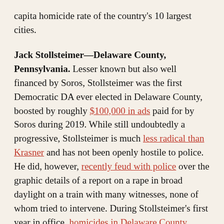capita homicide rate of the country's 10 largest cities.
Jack Stollsteimer—Delaware County, Pennsylvania. Lesser known but also well financed by Soros, Stollsteimer was the first Democratic DA ever elected in Delaware County, boosted by roughly $100,000 in ads paid for by Soros during 2019. While still undoubtedly a progressive, Stollsteimer is much less radical than Krasner and has not been openly hostile to police. He did, however, recently feud with police over the graphic details of a report on a rape in broad daylight on a train with many witnesses, none of whom tried to intervene. During Stollsteimer's first year in office, homicides in Delaware County increased 127 percent, though many attribute this to the county's proximity to Philadelphia.
Joe Gonzalez—Bexar County (San Antonio), Texas. George Soros has been the largest supporter with Texas, as George...